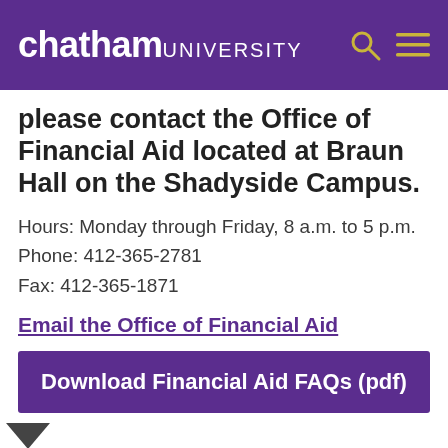chatham UNIVERSITY
please contact the Office of Financial Aid located at Braun Hall on the Shadyside Campus.
Hours: Monday through Friday, 8 a.m. to 5 p.m.
Phone: 412-365-2781
Fax: 412-365-1871
Email the Office of Financial Aid
Download Financial Aid FAQs (pdf)
Accepted Cookies
We use cookies to optimise site functionality and give you the best possible